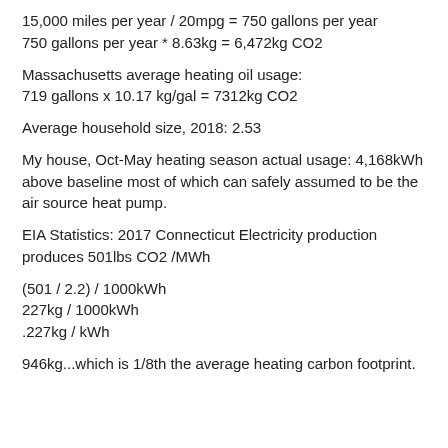15,000 miles per year / 20mpg = 750 gallons per year
750 gallons per year * 8.63kg = 6,472kg CO2
Massachusetts average heating oil usage:
719 gallons x 10.17 kg/gal = 7312kg CO2
Average household size, 2018: 2.53
My house, Oct-May heating season actual usage: 4,168kWh above baseline most of which can safely assumed to be the air source heat pump.
EIA Statistics: 2017 Connecticut Electricity production produces 501lbs CO2 /MWh
(501 / 2.2) / 1000kWh
227kg / 1000kWh
.227kg / kWh
946kg...which is 1/8th the average heating carbon footprint.